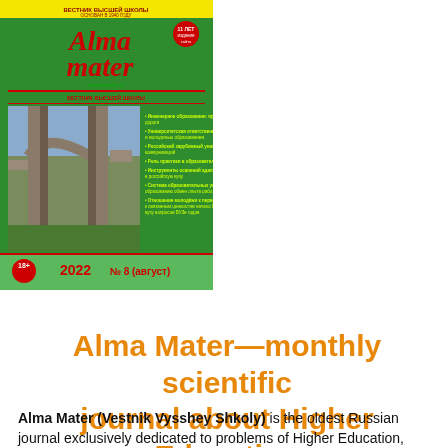2022 №8 (August)
[Figure (illustration): Cover of Alma Mater (Vestnik Vysshey Shkoly) journal, issue №8 (August) 2022. Green cover with red stylized title text 'Alma mater', featuring a photo of ancient stone ruins/archway, with a list of article titles in Russian text, 18+ label, and year/issue number at bottom.]
Alma Mater—monthly scientific journal about Higher Education
Alma Mater (Vestnik Vysshey Shkoly) is the oldest Russian journal exclusively dedicated to problems of Higher Education, founded in 1940.